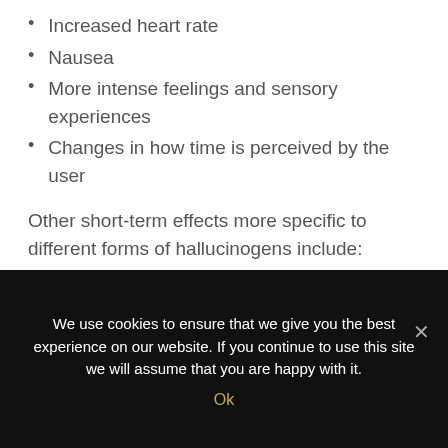Increased heart rate
Nausea
More intense feelings and sensory experiences
Changes in how time is perceived by the user
Other short-term effects more specific to different forms of hallucinogens include:
Loss of appetite
Increased blood pressure, body temperature, or breathing rate
We use cookies to ensure that we give you the best experience on our website. If you continue to use this site we will assume that you are happy with it.
Ok